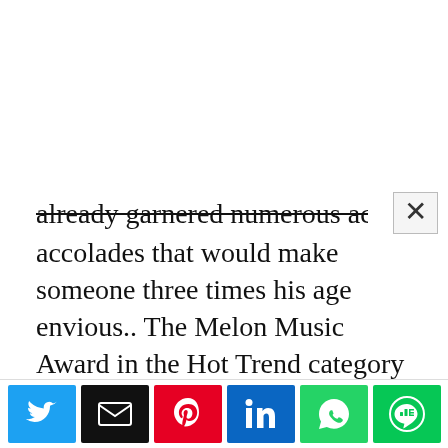already garnered numerous accolades and accolades that would make someone three times his age envious.. The Melon Music Award in the Hot Trend category went to him as a solo artist in 2017, and the Mnet Asian Music Award for Best Collaboration went to him and his group in 2019. While performing with BTS, he has won 265 accolades and been nominated for 395 more, and he holds 11 Guinness World Records as well.
[Figure (infographic): Social share buttons row: Twitter (blue), Email (black), Pinterest (red), LinkedIn (blue), WhatsApp (green), LINE (green)]